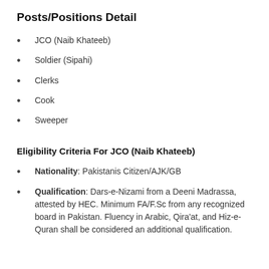Posts/Positions Detail
JCO (Naib Khateeb)
Soldier (Sipahi)
Clerks
Cook
Sweeper
Eligibility Criteria For JCO (Naib Khateeb)
Nationality: Pakistanis Citizen/AJK/GB
Qualification: Dars-e-Nizami from a Deeni Madrassa, attested by HEC. Minimum FA/F.Sc from any recognized board in Pakistan. Fluency in Arabic, Qira'at, and Hiz-e-Quran shall be considered an additional qualification.